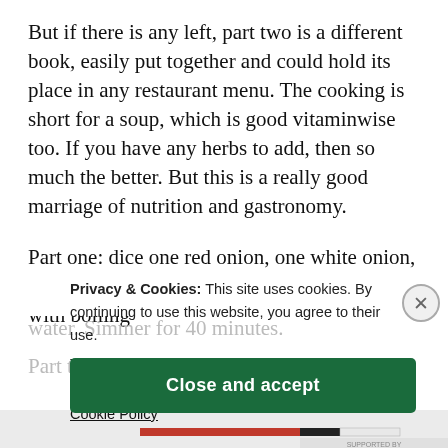But if there is any left, part two is a different book, easily put together and could hold its place in any restaurant menu. The cooking is short for a soup, which is good vitaminwise too. If you have any herbs to add, then so much the better. But this is a really good marriage of nutrition and gastronomy.
Part one: dice one red onion, one white onion, half a celery, one carrot, one potato and cover with boiling
Privacy & Cookies: This site uses cookies. By continuing to use this website, you agree to their use.
To find out more, including how to control cookies, see here:
Cookie Policy
Close and accept